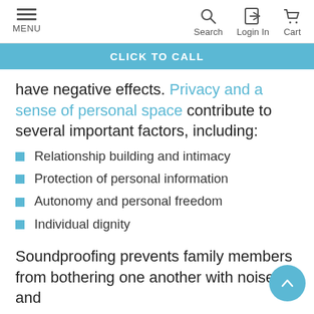MENU | Search | Login In | Cart
CLICK TO CALL
have negative effects. Privacy and a sense of personal space contribute to several important factors, including:
Relationship building and intimacy
Protection of personal information
Autonomy and personal freedom
Individual dignity
Soundproofing prevents family members from bothering one another with noise and